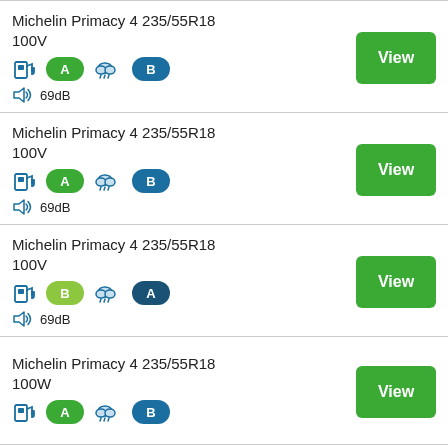Michelin Primacy 4 235/55R18 100V — fuel A, wet B, 69dB — View
Michelin Primacy 4 235/55R18 100V — fuel A, wet B, 69dB — View
Michelin Primacy 4 235/55R18 100V — fuel B, wet A, 69dB — View
Michelin Primacy 4 235/55R18 100W — fuel A, wet B — View